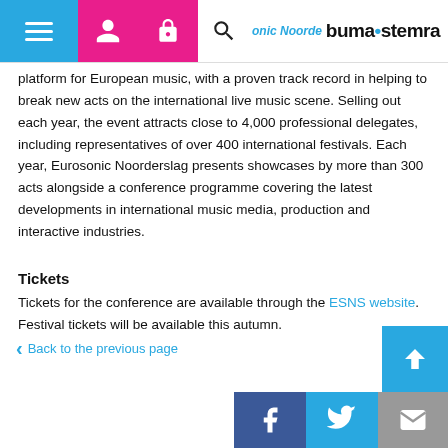Eurosonic Noorderslag — buma·stemra navigation bar
platform for European music, with a proven track record in helping to break new acts on the international live music scene. Selling out each year, the event attracts close to 4,000 professional delegates, including representatives of over 400 international festivals. Each year, Eurosonic Noorderslag presents showcases by more than 300 acts alongside a conference programme covering the latest developments in international music media, production and interactive industries.
Tickets
Tickets for the conference are available through the ESNS website. Festival tickets will be available this autumn.
Back to the previous page